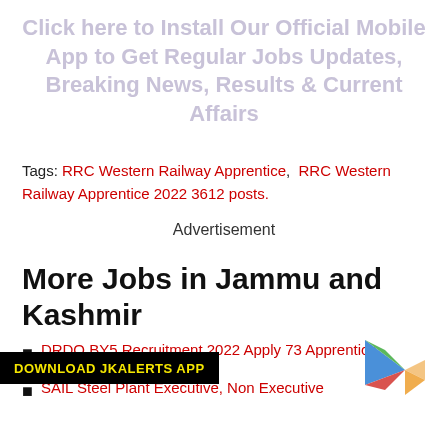Click here to Install Our Official Mobile App to Get Regular Jobs Updates, Breaking News, Results & Current Affairs
Tags: RRC Western Railway Apprentice, RRC Western Railway Apprentice 2022 3612 posts.
Advertisement
More Jobs in Jammu and Kashmir
[Figure (logo): Download JKALERTS APP banner with Play Store icon]
DRDO BY5 Recruitment 2022 Apply 73 Apprentice Vacancies
SAIL Steel Plant Executive, Non Executive